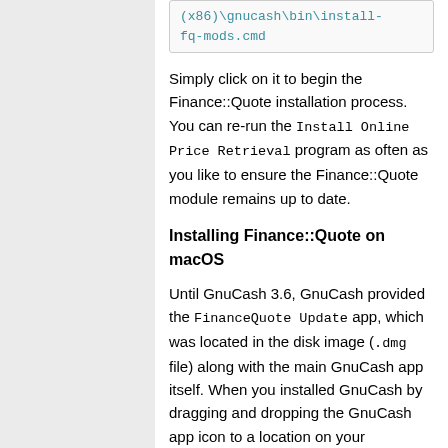[Figure (screenshot): Code box showing path: (x86)\gnucash\bin\install-fq-mods.cmd in teal monospace font on light background]
Simply click on it to begin the Finance::Quote installation process. You can re-run the Install Online Price Retrieval program as often as you like to ensure the Finance::Quote module remains up to date.
Installing Finance::Quote on macOS
Until GnuCash 3.6, GnuCash provided the FinanceQuote Update app, which was located in the disk image (.dmg file) along with the main GnuCash app itself. When you installed GnuCash by dragging and dropping the GnuCash app icon to a location on your computer's hard drive (like your Applications folder), you could also consider installing